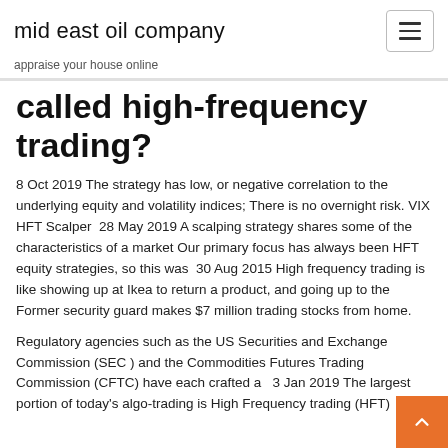mid east oil company
appraise your house online
called high-frequency trading?
8 Oct 2019 The strategy has low, or negative correlation to the underlying equity and volatility indices; There is no overnight risk. VIX HFT Scalper  28 May 2019 A scalping strategy shares some of the characteristics of a market Our primary focus has always been HFT equity strategies, so this was  30 Aug 2015 High frequency trading is like showing up at Ikea to return a product, and going up to the Former security guard makes $7 million trading stocks from home.
Regulatory agencies such as the US Securities and Exchange Commission (SEC ) and the Commodities Futures Trading Commission (CFTC) have each crafted a   3 Jan 2019 The largest portion of today's algo-trading is High Frequency trading (HFT)